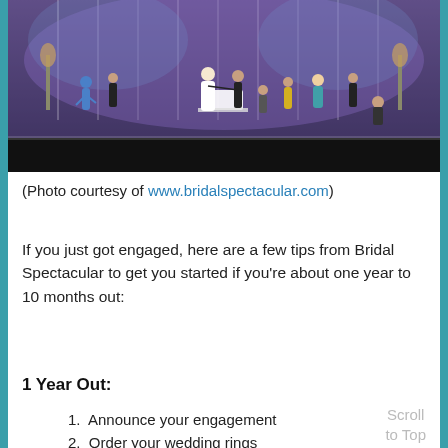[Figure (photo): Wedding fashion show on a stage with dancers and wedding party, lit by purple stage lights with white curtain backdrop]
(Photo courtesy of www.bridalspectacular.com)
If you just got engaged, here are a few tips from Bridal Spectacular to get you started if you're about one year to 10 months out:
1 Year Out:
Announce your engagement
Order your wedding rings
Meet with both sets of parents (if they are paying) to discuss type of wedding
Plan your wedding budget together